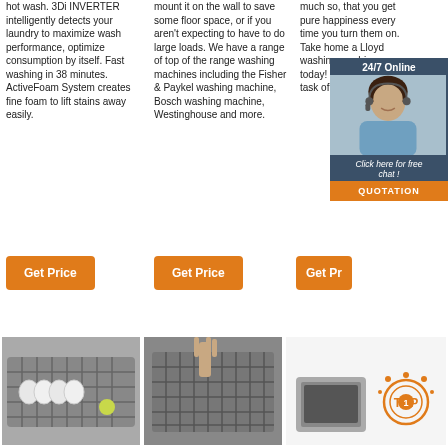hot wash. 3Di INVERTER intelligently detects your laundry to maximize wash performance, optimize consumption by itself. Fast washing in 38 minutes. ActiveFoam System creates fine foam to lift stains away easily.
mount it on the wall to save some floor space, or if you aren't expecting to have to do large loads. We have a range of top of the range washing machines including the Fisher & Paykel washing machine, Bosch washing machine, Westinghouse and more.
much so, that you get pure happiness every time you turn them on. Take home a Lloyd washing machine today! It will make the task of w...
[Figure (infographic): 24/7 Online chat widget with female agent photo, 'Click here for free chat!' text, and orange QUOTATION button]
Get Price
Get Price
Get Pr...
[Figure (photo): Dishwasher rack loaded with dishes and glasses]
[Figure (photo): Person placing cutlery into dishwasher rack]
[Figure (infographic): TOP badge/award graphic with kitchen appliance product image]